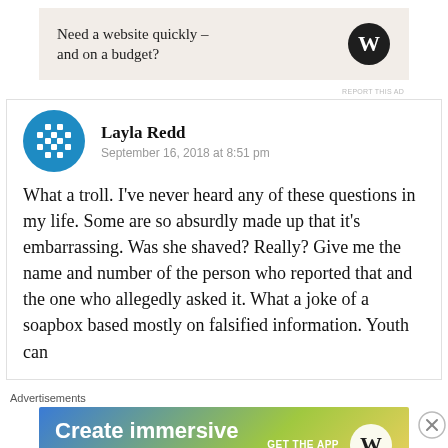[Figure (screenshot): WordPress advertisement banner with text 'Need a website quickly – and on a budget?' and WordPress logo on beige background]
REPORT THIS AD
Layla Redd
September 16, 2018 at 8:51 pm
What a troll. I've never heard any of these questions in my life. Some are so absurdly made up that it's embarrassing. Was she shaved? Really? Give me the name and number of the person who reported that and the one who allegedly asked it. What a joke of a soapbox based mostly on falsified information. Youth can
Advertisements
[Figure (screenshot): WordPress advertisement banner with text 'Create immersive stories.' GET THE APP with WordPress logo on colorful gradient background]